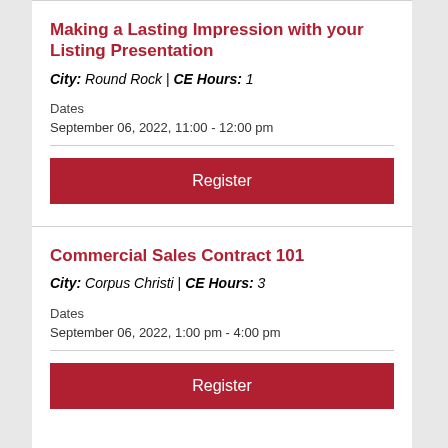Making a Lasting Impression with your Listing Presentation
City: Round Rock | CE Hours: 1
Dates
September 06, 2022, 11:00 - 12:00 pm
Register
Commercial Sales Contract 101
City: Corpus Christi | CE Hours: 3
Dates
September 06, 2022, 1:00 pm - 4:00 pm
Register